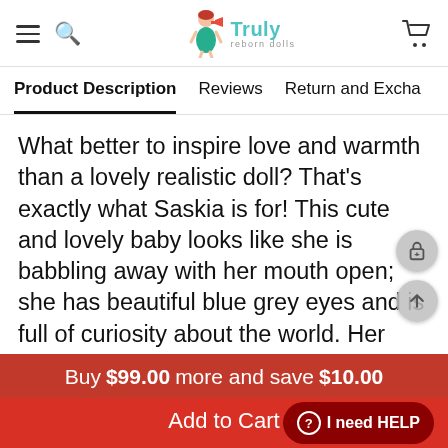Truly reborn dolls
Product Description | Reviews | Return and Exchange
What better to inspire love and warmth than a lovely realistic doll? That's exactly what Saskia is for! This cute and lovely baby looks like she is babbling away with her mouth open; she has beautiful blue grey eyes and is full of curiosity about the world. Her skin is delicate and textured, and her face is blushing, as if her body is actually warm. Saskia's skin texture is hand-painted, and her hair and eyelashes are woven from high-quality hair. You can take her on a picnic, read her bedtime stories
Buy $99.00 more and save $10.00
Add to Cart
I need HELP